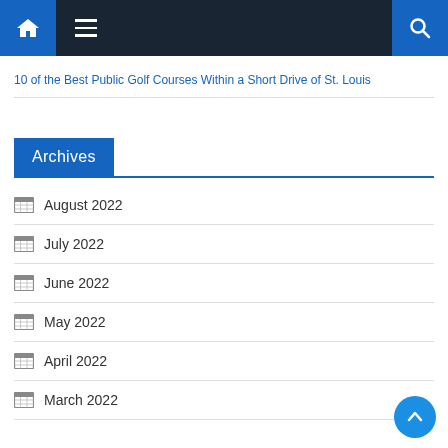Navigation bar with home, menu, and search icons
10 of the Best Public Golf Courses Within a Short Drive of St. Louis
Archives
August 2022
July 2022
June 2022
May 2022
April 2022
March 2022